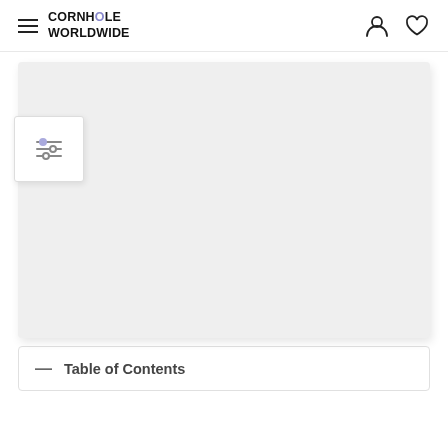CORNHOLE WORLDWIDE
[Figure (screenshot): Large light gray rectangular image area placeholder, likely a product or hero image, with a white filter/sort panel overlapping the left edge.]
— Table of Contents